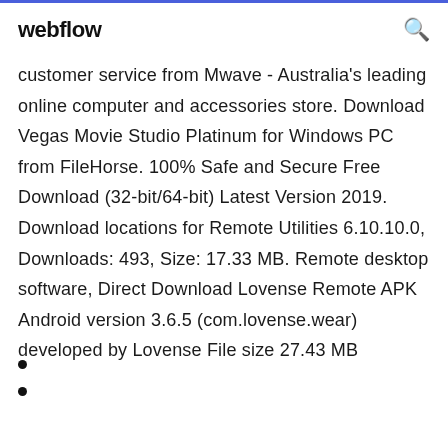webflow
customer service from Mwave - Australia's leading online computer and accessories store. Download Vegas Movie Studio Platinum for Windows PC from FileHorse. 100% Safe and Secure Free Download (32-bit/64-bit) Latest Version 2019. Download locations for Remote Utilities 6.10.10.0, Downloads: 493, Size: 17.33 MB. Remote desktop software, Direct Download Lovense Remote APK Android version 3.6.5 (com.lovense.wear) developed by Lovense File size 27.43 MB